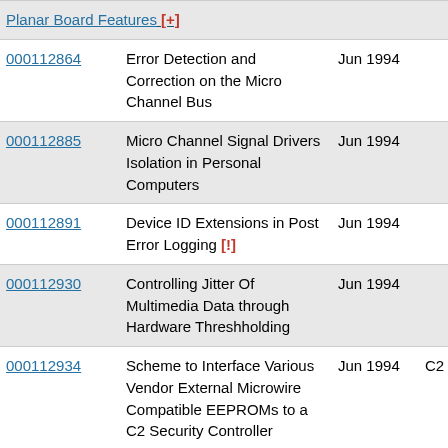| ID | Title | Date | Category |
| --- | --- | --- | --- |
| 000112864 | Error Detection and Correction on the Micro Channel Bus | Jun 1994 |  |
| 000112885 | Micro Channel Signal Drivers Isolation in Personal Computers | Jun 1994 |  |
| 000112891 | Device ID Extensions in Post Error Logging [!] | Jun 1994 |  |
| 000112930 | Controlling Jitter Of Multimedia Data through Hardware Threshholding | Jun 1994 |  |
| 000112934 | Scheme to Interface Various Vendor External Microwire Compatible EEPROMs to a C2 Security Controller | Jun 1994 | C2 |
| 000112972 | Information Display for Personal Computer System Messages | Jun 1994 | PC Server Op Panel |